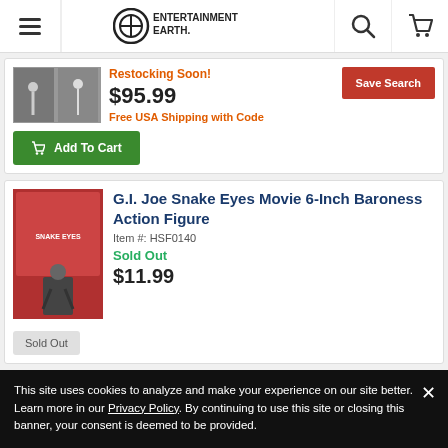Entertainment Earth - navigation header with menu, logo, search, cart
Restocking Soon!
$95.99
Free USA Shipping with Code
Save Search
Add To Cart
G.I. Joe Snake Eyes Movie 6-Inch Baroness Action Figure
Item #: HSF0140
Sold Out
$11.99
Sold Out
This site uses cookies to analyze and make your experience on our site better. Learn more in our Privacy Policy. By continuing to use this site or closing this banner, your consent is deemed to be provided.